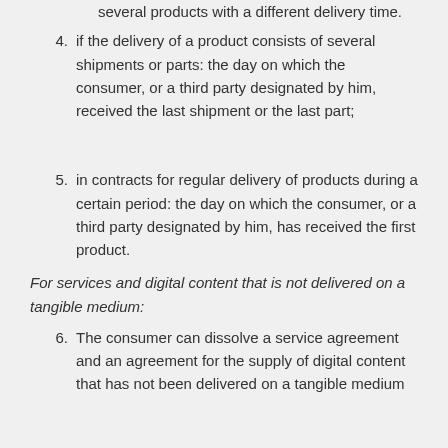several products with a different delivery time.
4. if the delivery of a product consists of several shipments or parts: the day on which the consumer, or a third party designated by him, received the last shipment or the last part;
5. in contracts for regular delivery of products during a certain period: the day on which the consumer, or a third party designated by him, has received the first product.
For services and digital content that is not delivered on a tangible medium:
6. The consumer can dissolve a service agreement and an agreement for the supply of digital content that has not been delivered on a tangible medium